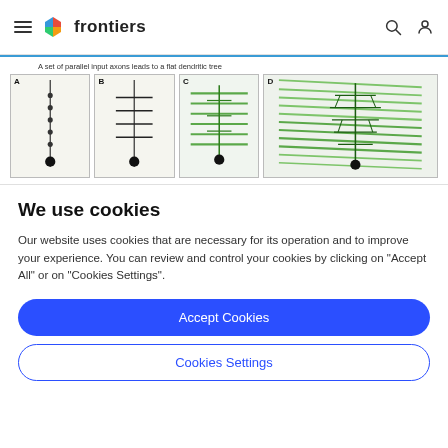frontiers
[Figure (illustration): Scientific figure showing four panels (A, B, C, D) illustrating 'A set of parallel input axons leads to a flat dendritic tree'. Panels A and B show simple line diagrams of neurons with vertical axons and horizontal dendrites. Panels C and D show progressively more complex green dendritic trees overlaid on parallel green input axon lines.]
We use cookies
Our website uses cookies that are necessary for its operation and to improve your experience. You can review and control your cookies by clicking on "Accept All" or on "Cookies Settings".
Accept Cookies
Cookies Settings